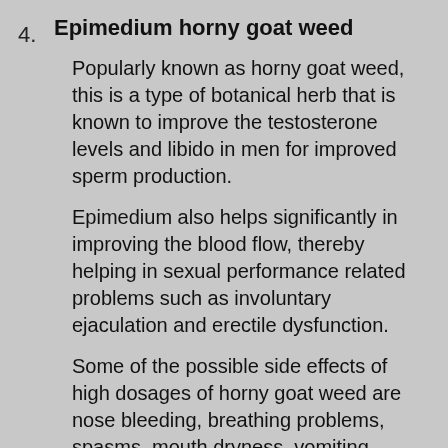4. Epimedium horny goat weed

Popularly known as horny goat weed, this is a type of botanical herb that is known to improve the testosterone levels and libido in men for improved sperm production.

Epimedium also helps significantly in improving the blood flow, thereby helping in sexual performance related problems such as involuntary ejaculation and erectile dysfunction.

Some of the possible side effects of high dosages of horny goat weed are nose bleeding, breathing problems, spasms, mouth dryness, vomiting, excessive thirst and